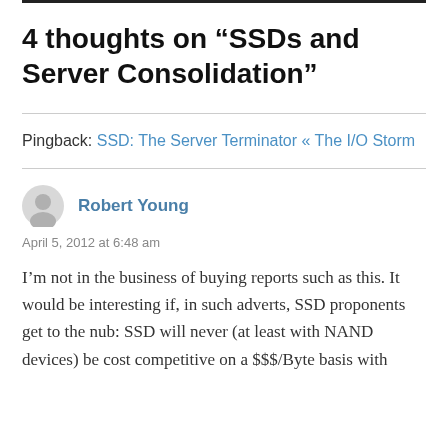4 thoughts on “SSDs and Server Consolidation”
Pingback: SSD: The Server Terminator « The I/O Storm
Robert Young
April 5, 2012 at 6:48 am
I’m not in the business of buying reports such as this. It would be interesting if, in such adverts, SSD proponents get to the nub: SSD will never (at least with NAND devices) be cost competitive on a $$$/Byte basis with